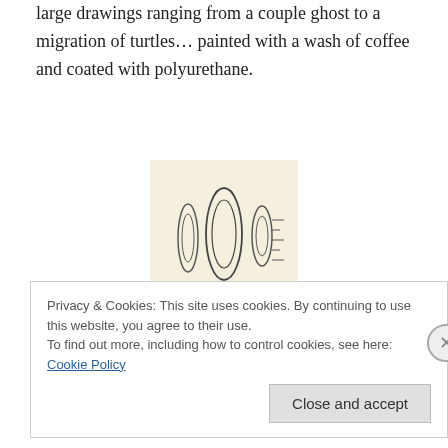large drawings ranging from a couple ghost to a migration of turtles… painted with a wash of coffee and coated with polyurethane.
[Figure (illustration): Book cover image for 'War Pickles' showing line drawings of pickle/torpedo-like shapes on a cream background with the text WAR PICKLES]
war pickles – mar 11th, 2005
large drawings ranging from a squid with glasses to a cluster of abe lincolns… painted with a wash of coffee and coated with polyurethane.
ART
Privacy & Cookies: This site uses cookies. By continuing to use this website, you agree to their use.
To find out more, including how to control cookies, see here: Cookie Policy